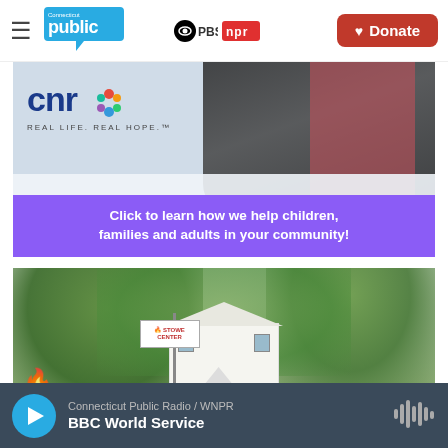Connecticut Public / PBS / NPR — Donate
[Figure (photo): CNR advertisement banner: child lying in snow, CNR logo with colorful snowflake, tagline REAL LIFE. REAL HOPE., purple CTA bar reading 'Click to learn how we help children, families and adults in your community!']
[Figure (photo): Outdoor photo of the Stowe Center white historic house with green trees, wooden fence, and a sign post in the foreground. A flame icon overlay is visible in the lower left corner.]
Connecticut Public Radio / WNPR — BBC World Service (audio player bar)